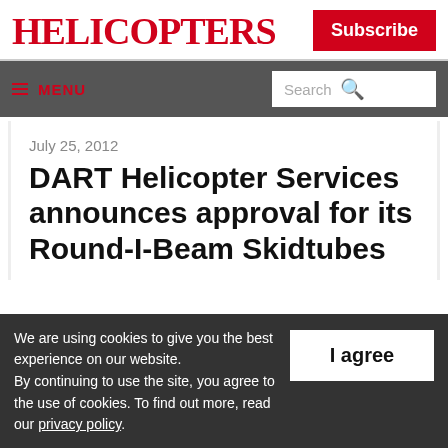HELICOPTERS
Subscribe
≡ MENU   Search 🔍
July 25, 2012
DART Helicopter Services announces approval for its Round-I-Beam Skidtubes
We are using cookies to give you the best experience on our website. By continuing to use the site, you agree to the use of cookies. To find out more, read our privacy policy.
I agree